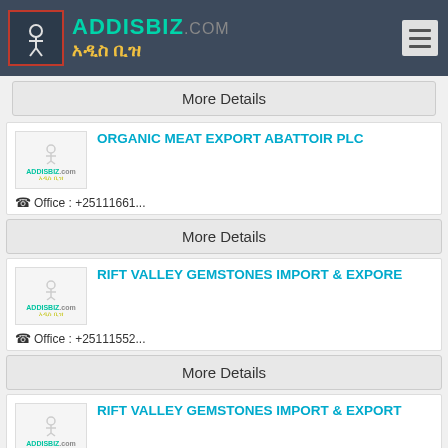ADDISBIZ.com አዲስ ቢዝ
More Details
ORGANIC MEAT EXPORT ABATTOIR PLC
Office : +25111661...
More Details
RIFT VALLEY GEMSTONES IMPORT & EXPORE
Office : +25111552...
More Details
RIFT VALLEY GEMSTONES IMPORT & EXPORT
Mobile : +25191162...  Office : +25111552...
More Details
SAAFI TRADING & AGRO INDUSTRY PLC
Mobile : +25191120...  Office : +25111551...